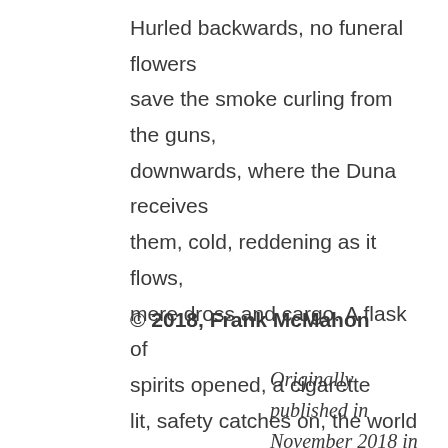Hurled backwards, no funeral flowers
save the smoke curling from the guns,
downwards, where the Duna receives
them, cold, reddening as it flows,
mere dross and cargo. A flask of
spirits opened, a cigarette
lit, safety catches on, the world
more Judenfrei.
Shoes, now again
pointing in all directions.
© 2018, Frank McMahon
Originally published in November 2018 in the Anthology Persona Non Grata, Ed. Isabelle Kenyon.